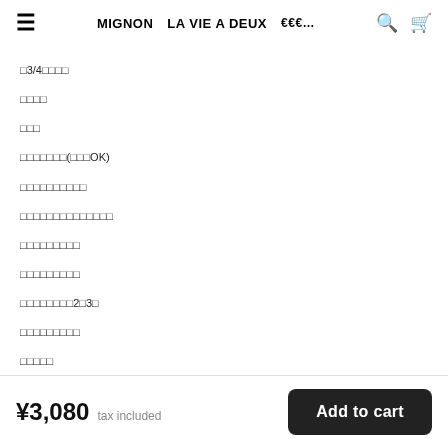≡  MIGNON  LA VIE A DEUX  ??? ...  🔍  🛒
?3/4???? 
???? 
??? 
???????(???OK) 
?????????? 
?????????????? 
????????? 
????????? 
????????2?3? 
????????? 
????? 
???? 
???????? 

???? 
??????????????????? ???65%  ????????29%  ???????6? 
????????????  ?
¥3,080  tax included
Add to cart